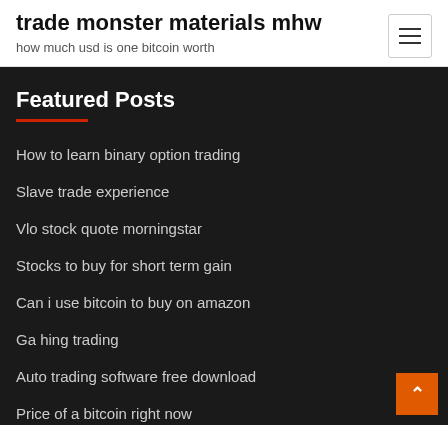trade monster materials mhw
how much usd is one bitcoin worth
Featured Posts
How to learn binary option trading
Slave trade experience
Vlo stock quote morningstar
Stocks to buy for short term gain
Can i use bitcoin to buy on amazon
Ga hing trading
Auto trading software free download
Price of a bitcoin right now